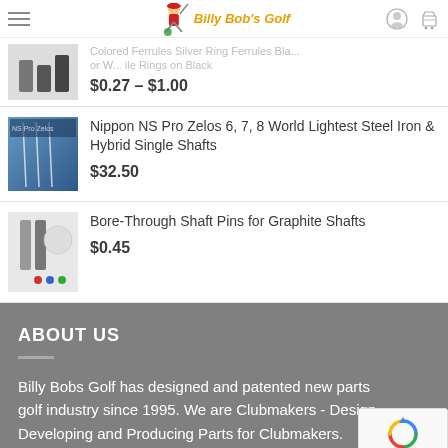Billy Bob's Golf
Colored Ferrules Silver Ring Ferrules Bl... or W... ile Rings on Black
$0.27 – $1.00
Nippon NS Pro Zelos 6, 7, 8 World Lightest Steel Iron & Hybrid Single Shafts
$32.50
Bore-Through Shaft Pins for Graphite Shafts
$0.45
ABOUT US
Billy Bobs Golf has designed and patented new parts golf industry since 1995. We are Clubmakers - Design... Developing and Producing Parts for Clubmakers.